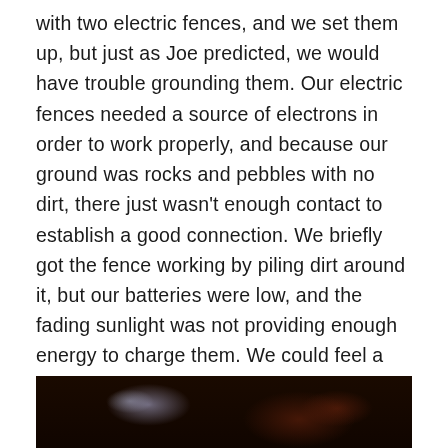with two electric fences, and we set them up, but just as Joe predicted, we would have trouble grounding them. Our electric fences needed a source of electrons in order to work properly, and because our ground was rocks and pebbles with no dirt, there just wasn't enough contact to establish a good connection. We briefly got the fence working by piling dirt around it, but our batteries were low, and the fading sunlight was not providing enough energy to charge them. We could feel a slight shock when we tested the fence, but that faded away after an hour or so. Quite sure we had picked a good spot and that bears wouldn't bother us, I dozed off, dreaming of all the amazing sights and sounds I had experienced that day. However, my peaceful slumber would be brief.
[Figure (photo): Dark nighttime or low-light photo, mostly black with faint reddish-brown tones and a couple of light/blue-white glowing spots, possibly a campfire or lights in darkness.]